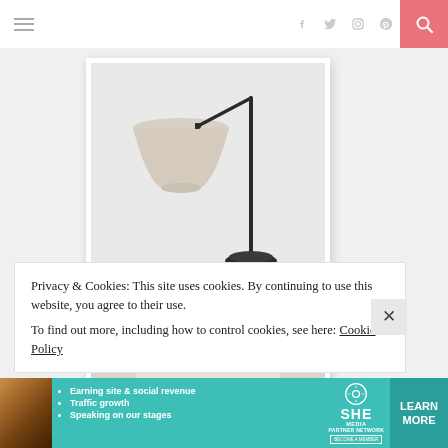Navigation bar with hamburger menu, social icons (Facebook, Twitter, Instagram, Pinterest), and search button
[Figure (photo): Product photo of a modern floor lamp with a beige drum shade on an adjustable cantilever black metal arm and round black base, displayed against a white/light grey background, shown in a white card frame.]
[Figure (photo): Product photo of a cream/ivory chunky knit bag or tote, displayed against a light grey background, shown in a white card frame.]
Privacy & Cookies: This site uses cookies. By continuing to use this website, you agree to their use. To find out more, including how to control cookies, see here: Cookie Policy
[Figure (infographic): SHE Media Partner Network advertisement banner in teal/turquoise. Shows a woman photo on left, bullet points: Earning site & social revenue, Traffic growth, Speaking on our stages. SHE MEDIA logo with Partner Network and Become a Member text. LEARN MORE button.]